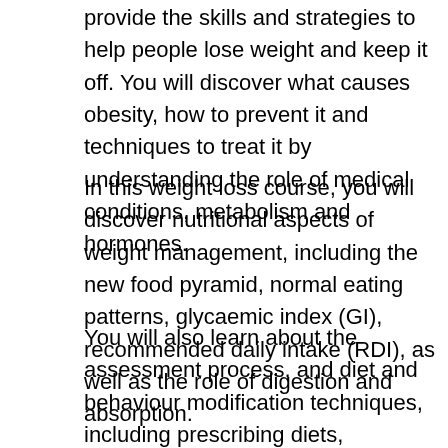provide the skills and strategies to help people lose weight and keep it off. You will discover what causes obesity, how to prevent it and techniques to treat it by understanding the role of medical conditions, metabolism and hormones.
In this weight loss course, you will discover nutritional aspects of weight management, including the new food pyramid, normal eating patterns, glycaemic index (GI), recommended daily intake (RDI), as well as the role of digestion and absorption.
You will also learn about the assessment process, and diet and behaviour modification techniques, including prescribing diets, supplements, exercise and the role of hypnosis, self-help groups and